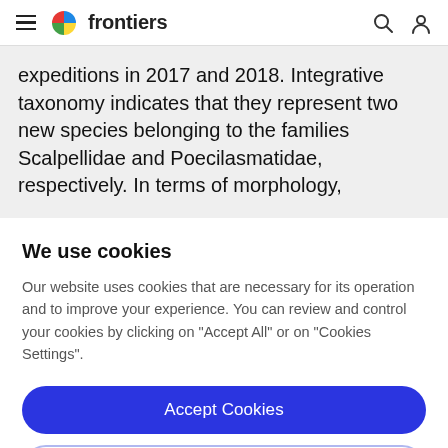frontiers
expeditions in 2017 and 2018. Integrative taxonomy indicates that they represent two new species belonging to the families Scalpellidae and Poecilasmatidae, respectively. In terms of morphology,
We use cookies
Our website uses cookies that are necessary for its operation and to improve your experience. You can review and control your cookies by clicking on "Accept All" or on "Cookies Settings".
Accept Cookies
Cookies Settings